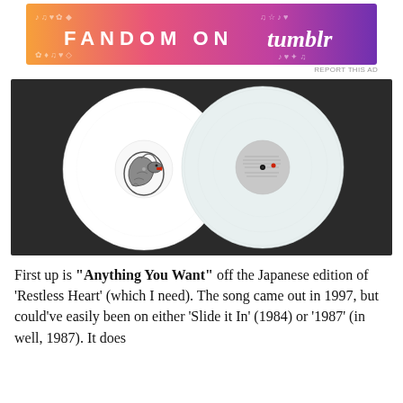[Figure (other): Fandom on Tumblr advertisement banner with colorful gradient background (orange, pink, purple) and decorative music/heart icons]
[Figure (photo): Two white vinyl records on a dark background. The left record has a coiled snake with open red mouth as the center label art. The right record has a plain gray label with small text and a center hole.]
First up is “Anything You Want” off the Japanese edition of ‘Restless Heart’ (which I need).  The song came out in 1997, but could’ve easily been on either ‘Slide it In’ (1984) or ‘1987’ (in well, 1987).  It does